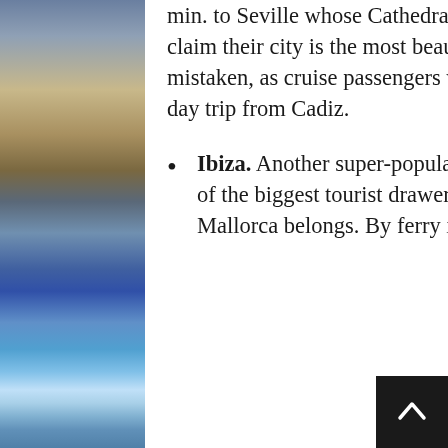min. to Seville whose Cathedral is the world's biggest Gothic cathedral. Sevillanos claim their city is the most beautiful in the whole country. They're probably not mistaken, as cruise passengers will find out for themselves if they go to Seville on a day trip from Cadiz.
Ibiza. Another super-popular cruise destination on the Mediterranea. Ibiza is one of the biggest tourist drawers in the Balearic Islands, the archipelago to which Mallorca belongs. By ferry it is only two hours away from Mallorca but pricier